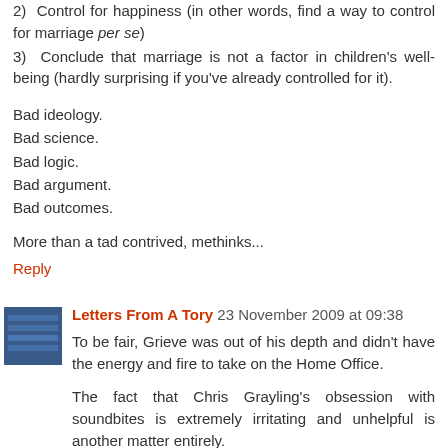1) Happy couples got married
2) Control for happiness (in other words, find a way to control for marriage per se)
3) Conclude that marriage is not a factor in children's well-being (hardly surprising if you've already controlled for it).
Bad ideology.
Bad science.
Bad logic.
Bad argument.
Bad outcomes.
More than a tad contrived, methinks...
Reply
Letters From A Tory  23 November 2009 at 09:38
To be fair, Grieve was out of his depth and didn't have the energy and fire to take on the Home Office.
The fact that Chris Grayling's obsession with soundbites is extremely irritating and unhelpful is another matter entirely.